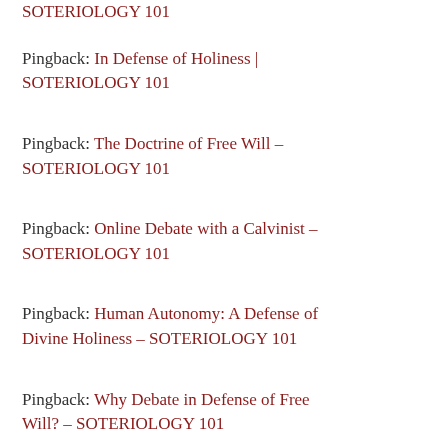SOTERIOLOGY 101 (partial, top)
Pingback: In Defense of Holiness | SOTERIOLOGY 101
Pingback: The Doctrine of Free Will – SOTERIOLOGY 101
Pingback: Online Debate with a Calvinist – SOTERIOLOGY 101
Pingback: Human Autonomy: A Defense of Divine Holiness – SOTERIOLOGY 101
Pingback: Why Debate in Defense of Free Will? – SOTERIOLOGY 101 (partial, bottom)